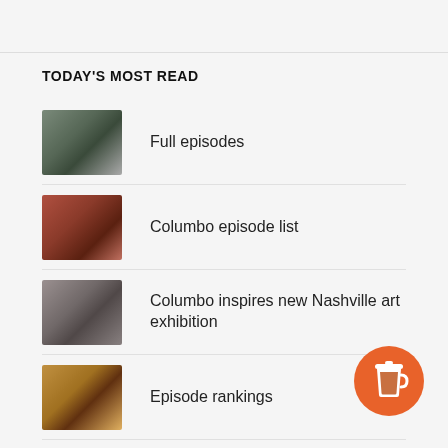TODAY'S MOST READ
Full episodes
Columbo episode list
Columbo inspires new Nashville art exhibition
Episode rankings
Columbo full episode: Murder by the Book
Columbo full episode: Death Lends
[Figure (other): Orange circular coffee cup button/icon in bottom right corner]